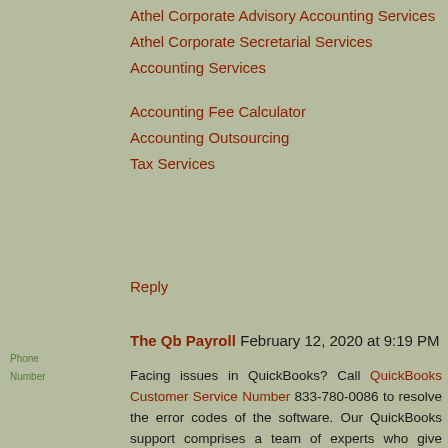Athel Corporate Advisory Accounting Services
Athel Corporate Secretarial Services
Accounting Services
Accounting Fee Calculator
Accounting Outsourcing
Tax Services
Reply
The Qb Payroll  February 12, 2020 at 9:19 PM
Facing issues in QuickBooks? Call QuickBooks Customer Service Number 833-780-0086 to resolve the error codes of the software. Our QuickBooks support comprises a team of experts who give reliable assistance to the users. For More Visit: https://goo.gl/maps/PhEA6fETTykf2v8e6